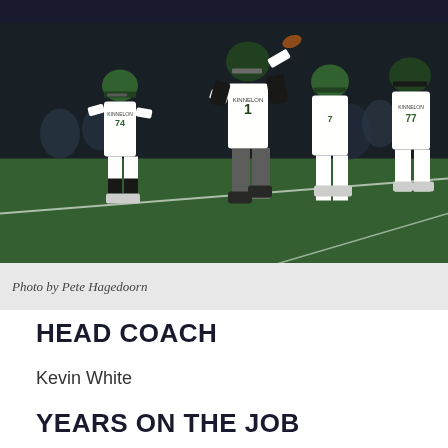[Figure (photo): Night football game action shot showing Kinnelon high school players in white uniforms on a green turf field. Quarterback wearing number 7 is throwing a pass while teammates block.]
Photo by Pete Hagedoorn
HEAD COACH
Kevin White
YEARS ON THE JOB